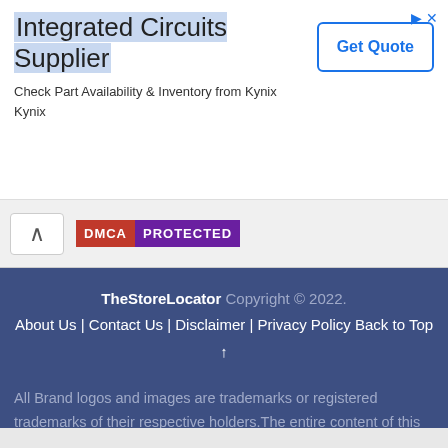[Figure (other): Advertisement banner for Kynix Integrated Circuits Supplier with Get Quote button]
[Figure (other): Navigation bar with back arrow chevron button and DMCA Protected badge]
TheStoreLocator Copyright © 2022. About Us | Contact Us | Disclaimer | Privacy Policy Back to Top ↑
All Brand logos and images are trademarks or registered trademarks of their respective holders.The entire content of this website is copyrighted to the thestorelocator.com Doe and should never be reproduced/copied to another website without written authorization from the owner.